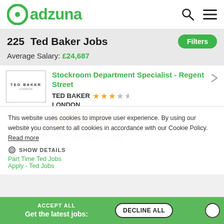adzuna
225 Ted Baker Jobs
Average Salary: £24,687
[Figure (screenshot): Ted Baker London company logo in a bordered box]
Stockroom Department Specialist - Regent Street
TED BAKER ★★★☆☆
LONDON
CLOSING SOON
Apply for Ted Jobs - Ted Jobs (Hiring)
This website uses cookies to improve user experience. By using our website you consent to all cookies in accordance with our Cookie Policy. Read more
SHOW DETAILS
ACCEPT ALL
Get the latest jobs:
DECLINE ALL